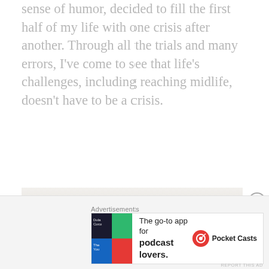sense of humor, decided to fill the first half of my life with one crisis after another. Through all the trials and many errors, I've come to see that life's challenges, including reaching midlife, doesn't have to be a crisis.
[Figure (photo): Partial photo visible at bottom of article, showing a light-colored background with a blurred golden/brown object]
Advertisements
[Figure (other): Pocket Casts advertisement: The go-to app for podcast lovers. Shows the Pocket Casts logo (four colored quadrants) and the Pocket Casts red circle logo with name.]